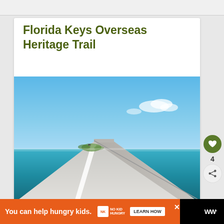Florida Keys Overseas Heritage Trail
[Figure (photo): Scenic photo of a highway bridge over turquoise ocean water under a blue sky, perspective view along the concrete bridge wall, Florida Keys Overseas Heritage Trail]
You can help hungry kids.
NO KID HUNGRY
LEARN HOW
4